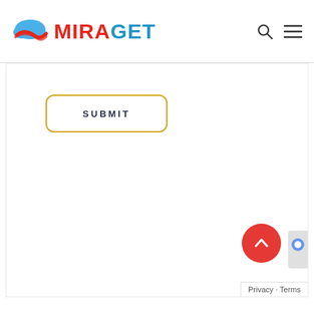[Figure (logo): Miraget logo with cloud icon above text. Cloud has blue and red elements. Text reads MIRAGET in red/blue letters.]
SUBMIT
[Figure (other): Red circular scroll-to-top button with a chevron/arrow pointing upward]
Privacy · Terms